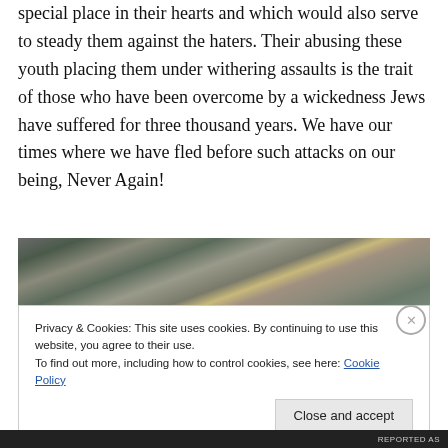special place in their hearts and which would also serve to steady them against the haters. Their abusing these youth placing them under withering assaults is the trait of those who have been overcome by a wickedness Jews have suffered for three thousand years. We have our times where we have fled before such attacks on our being, Never Again!
[Figure (photo): An aerial or landscape photograph showing rocky/forested terrain, partially visible at top of image section.]
Privacy & Cookies: This site uses cookies. By continuing to use this website, you agree to their use.
To find out more, including how to control cookies, see here: Cookie Policy
Close and accept
REPORTED AS